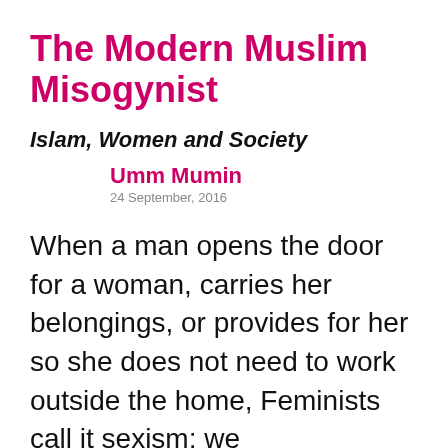The Modern Muslim Misogynist
Islam, Women and Society
Umm Mumin
24 September, 2016
When a man opens the door for a woman, carries her belongings, or provides for her so she does not need to work outside the home, Feminists call it sexism; we